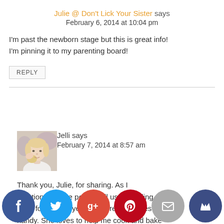Julie @ Don't Lick Your Sister says
February 6, 2014 at 10:04 pm
I'm past the newborn stage but this is great info! I'm pinning it to my parenting board!
REPLY
[Figure (photo): Avatar photo of Jelli, a woman with light skin and blonde hair]
Jelli says
February 7, 2014 at 8:57 am
Thank you, Julie, for sharing. As I mentioned in the post, I still use this sling even for my two year-old. It really comes in handy. She loves to help me cook and bake while resting on my hip — a great…
[Figure (infographic): Social media sharing buttons row: Facebook, Twitter, Google+, Pinterest, Email, Crown]